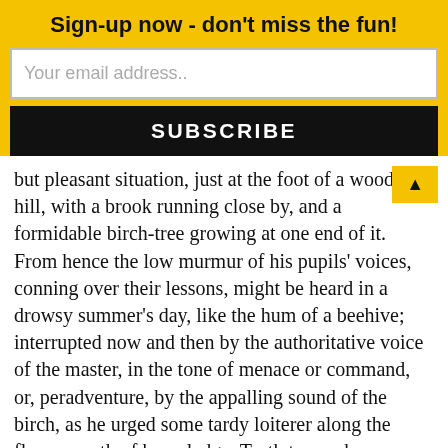Sign-up now - don't miss the fun!
Your email address..
SUBSCRIBE
but pleasant situation, just at the foot of a woody hill, with a brook running close by, and a formidable birch-tree growing at one end of it. From hence the low murmur of his pupils’ voices, conning over their lessons, might be heard in a drowsy summer’s day, like the hum of a beehive; interrupted now and then by the authoritative voice of the master, in the tone of menace or command, or, peradventure, by the appalling sound of the birch, as he urged some tardy loiterer along the flowery path of knowledge. Truth to say, he was a conscientious man, and ever bore in mind the golden maxim, “Spare the rod and spoil the child.” Ichabod Crane’s scholars certainly were not spoiled.